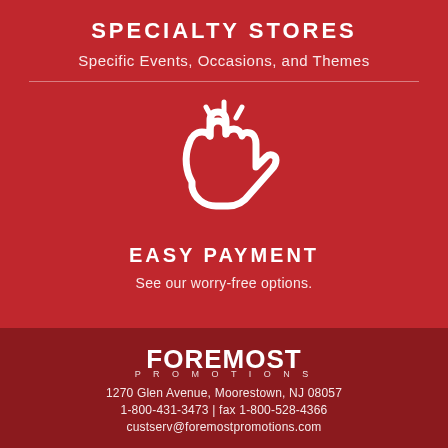SPECIALTY STORES
Specific Events, Occasions, and Themes
[Figure (illustration): White outline icon of a hand snapping fingers (clicking gesture) with motion lines above, on red background]
EASY PAYMENT
See our worry-free options.
[Figure (logo): Foremost Promotions logo in white text]
1270 Glen Avenue, Moorestown, NJ 08057
1-800-431-3473 | fax 1-800-528-4366
custserv@foremostpromotions.com